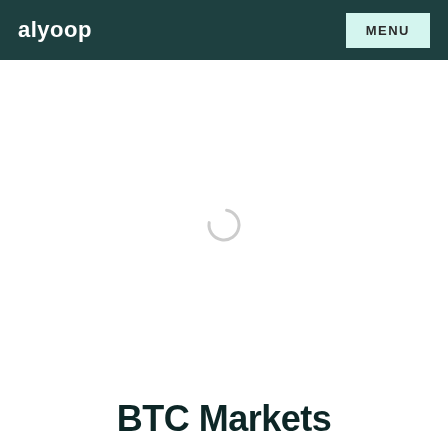alyoop   MENU
[Figure (other): Loading spinner (circular arc indicator) centered in the white content area below the navigation header]
BTC Markets